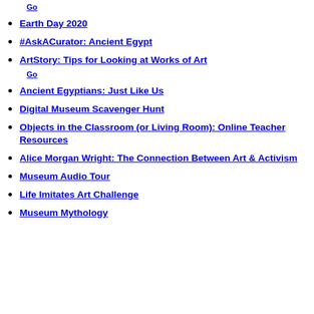Go
Earth Day 2020
#AskACurator: Ancient Egypt
ArtStory: Tips for Looking at Works of Art
Go
Ancient Egyptians: Just Like Us
Digital Museum Scavenger Hunt
Objects in the Classroom (or Living Room): Online Teacher Resources
Alice Morgan Wright: The Connection Between Art & Activism
Museum Audio Tour
Life Imitates Art Challenge
Museum Mythology